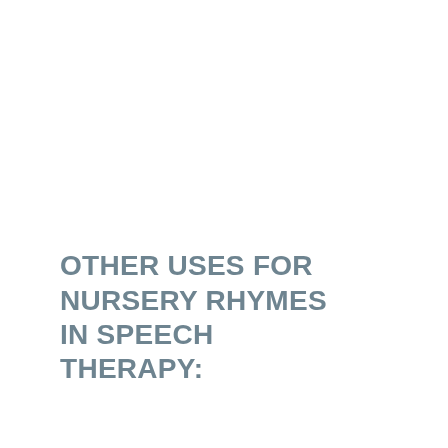OTHER USES FOR NURSERY RHYMES IN SPEECH THERAPY: